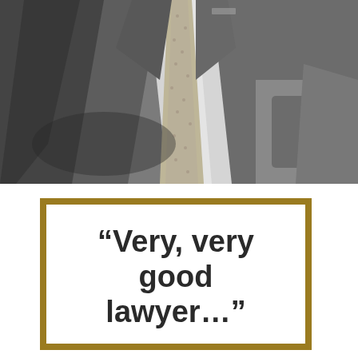[Figure (photo): Black and white close-up photo of a man in a dark suit with a light grey dotted tie, showing torso only from shoulders to waist]
“Very, very good lawyer…”